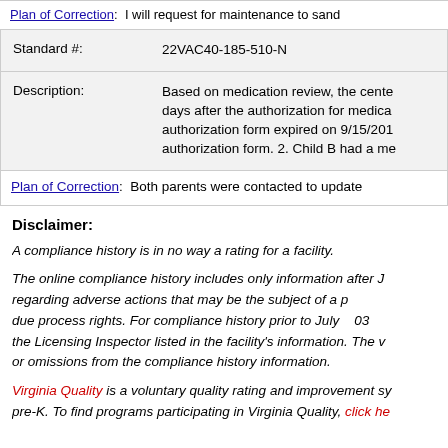Plan of Correction: I will request for maintenance to sand
| Field | Value |
| --- | --- |
| Standard #: | 22VAC40-185-510-N |
| Description: | Based on medication review, the cente days after the authorization for medica authorization form expired on 9/15/201 authorization form. 2. Child B had a me |
Plan of Correction: Both parents were contacted to update
Disclaimer:
A compliance history is in no way a rating for a facility.
The online compliance history includes only information after J regarding adverse actions that may be the subject of a p due process rights. For compliance history prior to July 03 the Licensing Inspector listed in the facility's information. The v or omissions from the compliance history information.
Virginia Quality is a voluntary quality rating and improvement sy pre-K. To find programs participating in Virginia Quality, click he